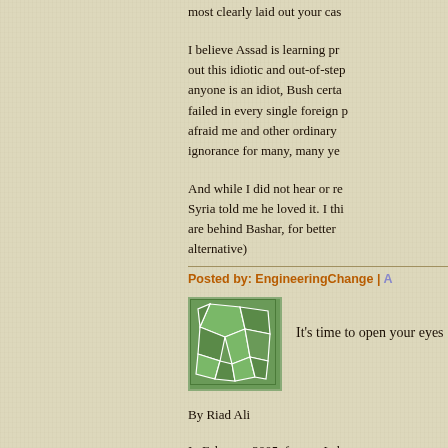most clearly laid out your cas
I believe Assad is learning pr out this idiotic and out-of-step anyone is an idiot, Bush certa failed in every single foreign p afraid me and other ordinary ignorance for many, many ye
And while I did not hear or re Syria told me he loved it. I thi are behind Bashar, for better alternative)
Posted by: EngineeringChange | A
[Figure (illustration): Green avatar icon with polygonal/mosaic pattern on light green background with dark green border]
It's time to open your eyes
By Riad Ali
In February 2005, former Leb